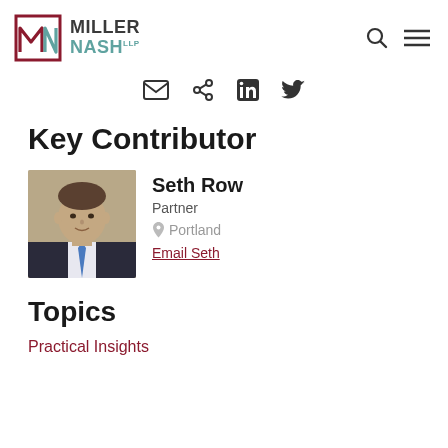Miller Nash LLP logo with navigation icons
[Figure (other): Share/social icons bar: email envelope, share, LinkedIn, Twitter]
Key Contributor
[Figure (photo): Headshot of Seth Row, a man in a dark suit with a blue tie]
Seth Row
Partner
Portland
Email Seth
Topics
Practical Insights